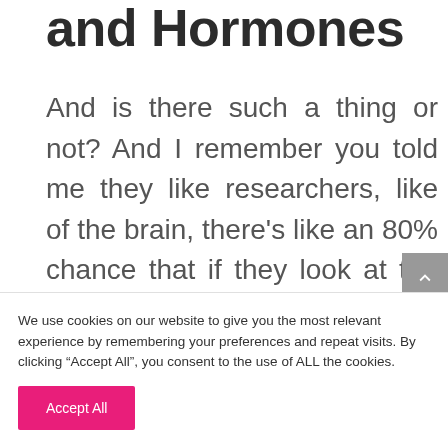and Hormones
And is there such a thing or not? And I remember you told me they like researchers, like of the brain, there's like an 80% chance that if they look at the brain, they can identify if it's a man or woman. So 80%, uh, there's no such thing as completely male brain and completely female brain. But if you let the scientists.
We use cookies on our website to give you the most relevant experience by remembering your preferences and repeat visits. By clicking “Accept All”, you consent to the use of ALL the cookies.